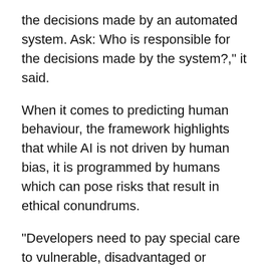the decisions made by an automated system. Ask: Who is responsible for the decisions made by the system?," it said.
When it comes to predicting human behaviour, the framework highlights that while AI is not driven by human bias, it is programmed by humans which can pose risks that result in ethical conundrums.
"Developers need to pay special care to vulnerable, disadvantaged or protected groups when programming AI," CSIRO said. "Full transparency is sometimes impossible, or undesirable (consider privacy breaches). But there are always ways to achieve a degree of transparency."
A statement from Minister for Human Services and